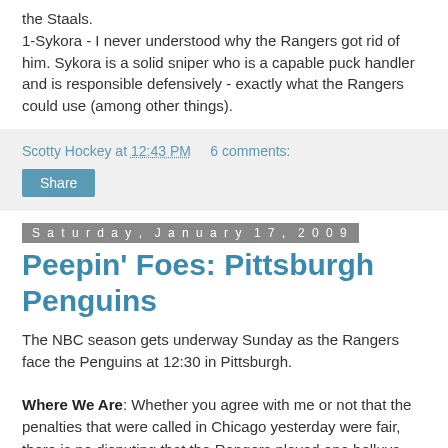the Staals.
1-Sykora - I never understood why the Rangers got rid of him. Sykora is a solid sniper who is a capable puck handler and is responsible defensively - exactly what the Rangers could use (among other things).
Scotty Hockey at 12:43 PM    6 comments:
Share
Saturday, January 17, 2009
Peepin' Foes: Pittsburgh Penguins
The NBC season gets underway Sunday as the Rangers face the Penguins at 12:30 in Pittsburgh.
Where We Are: Whether you agree with me or not that the penalties that were called in Chicago yesterday were fair, there is no disputing that the Rangers played one helluva game to escape the Windy City with a 3-2 win. That makes three victories in a row, all on the road. Not too shabby.